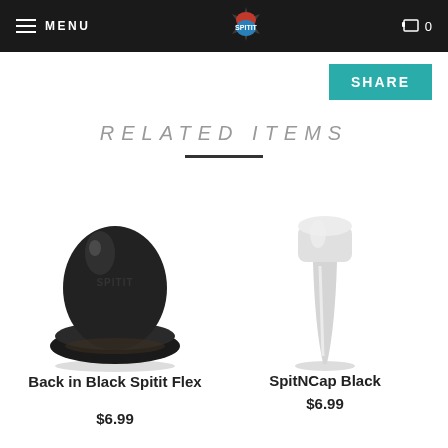MENU | SPITIT logo | cart 0
SHARE
RELATED ITEMS
[Figure (photo): Back in Black Spitit Flex product - a glossy black mushroom-shaped cap/button]
Back in Black Spitit Flex
$6.99
[Figure (photo): SpitNCap Black product - a white elongated tapered cap/mouthpiece]
SpitNCap Black
$6.99